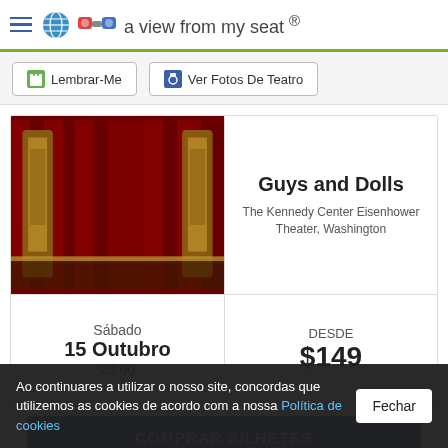a view from my seat ®
Lembrar-Me
Ver Fotos De Teatro
[Figure (photo): Theater interior with red curtains and decorated columns]
Guys and Dolls
The Kennedy Center Eisenhower Theater, Washington
Sábado
15 Outubro
20.00
DESDE
$149
COMPRAR BILHETES
TicketCity
Ao continuares a utilizar o nosso site, concordas que utilizemos as cookies de acordo com a nossa Política de cookies Fechar